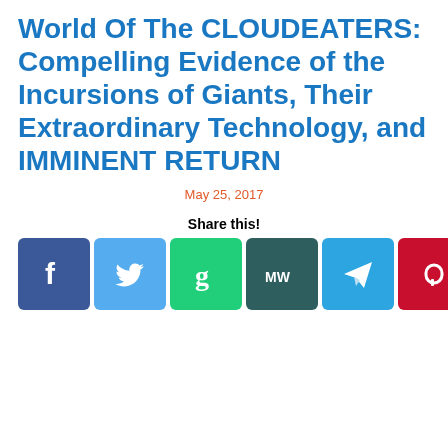World Of The CLOUDEATERS: Compelling Evidence of the Incursions of Giants, Their Extraordinary Technology, and IMMINENT RETURN
May 25, 2017
Share this!
[Figure (infographic): Social media share buttons row: Facebook (blue), Twitter (light blue), Gab (green), MeWe (dark teal), Telegram (blue), Parler (red), Instagram (gradient purple-orange), LinkedIn (blue), Email (green)]